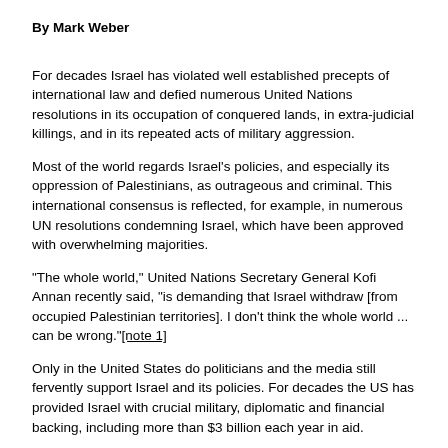By Mark Weber
For decades Israel has violated well established precepts of international law and defied numerous United Nations resolutions in its occupation of conquered lands, in extra-judicial killings, and in its repeated acts of military aggression.
Most of the world regards Israel's policies, and especially its oppression of Palestinians, as outrageous and criminal. This international consensus is reflected, for example, in numerous UN resolutions condemning Israel, which have been approved with overwhelming majorities.
"The whole world," United Nations Secretary General Kofi Annan recently said, "is demanding that Israel withdraw [from occupied Palestinian territories]. I don't think the whole world ... can be wrong."[note 1]
Only in the United States do politicians and the media still fervently support Israel and its policies. For decades the US has provided Israel with crucial military, diplomatic and financial backing, including more than $3 billion each year in aid.
Why is the U.S. the only remaining bastion of support for Israel?